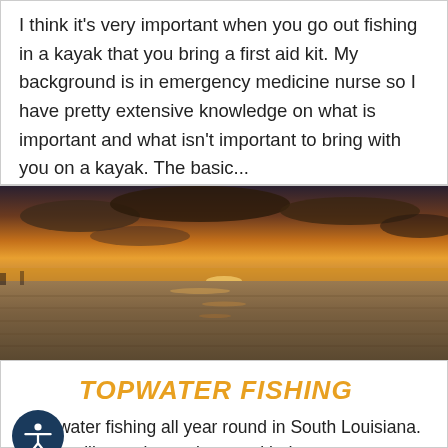I think it's very important when you go out fishing in a kayak that you bring a first aid kit. My background is in emergency medicine nurse so I have pretty extensive knowledge on what is important and what isn't important to bring with you on a kayak. The basic...
[Figure (photo): Wide landscape photo of an open body of water at sunset/dusk with orange and golden sky with clouds on the horizon]
TOPWATER FISHING
e topwater fishing all year round in South Louisiana. Nothing like seeing a nice speckled